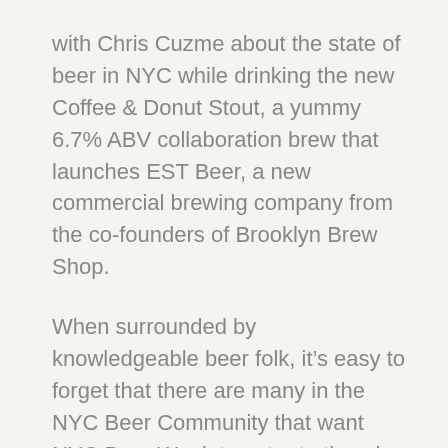with Chris Cuzme about the state of beer in NYC while drinking the new Coffee & Donut Stout, a yummy 6.7% ABV collaboration brew that launches EST Beer, a new commercial brewing company from the co-founders of Brooklyn Brew Shop.
When surrounded by knowledgeable beer folk, it’s easy to forget that there are many in the NYC Beer Community that want NYC Beer Week to cater to the wine and whiskey crowd, as I like to call them, people who are either new to craft beer or are not the typical beer drinkers. And there are a lot of tastings and tap takeovers throughout the city that should be enjoyed by novice beer drinkers.
But with so many events on the calendar for the coming 10 days, which ones have a geek factor that savvy beer drinkers won’t want to miss? Here